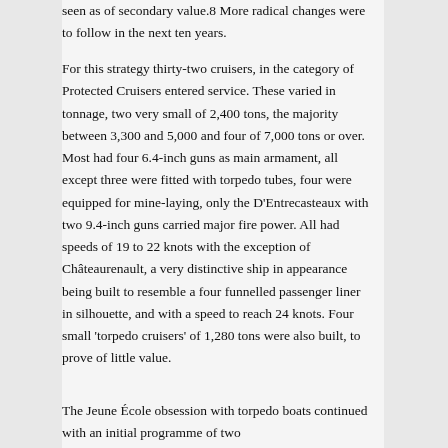seen as of secondary value.8 More radical changes were to follow in the next ten years.
For this strategy thirty-two cruisers, in the category of Protected Cruisers entered service. These varied in tonnage, two very small of 2,400 tons, the majority between 3,300 and 5,000 and four of 7,000 tons or over. Most had four 6.4-inch guns as main armament, all except three were fitted with torpedo tubes, four were equipped for mine-laying, only the D'Entrecasteaux with two 9.4-inch guns carried major fire power. All had speeds of 19 to 22 knots with the exception of Châteaurenault, a very distinctive ship in appearance being built to resemble a four funnelled passenger liner in silhouette, and with a speed to reach 24 knots. Four small 'torpedo cruisers' of 1,280 tons were also built, to prove of little value.
The Jeune École obsession with torpedo boats continued with an initial programme of two